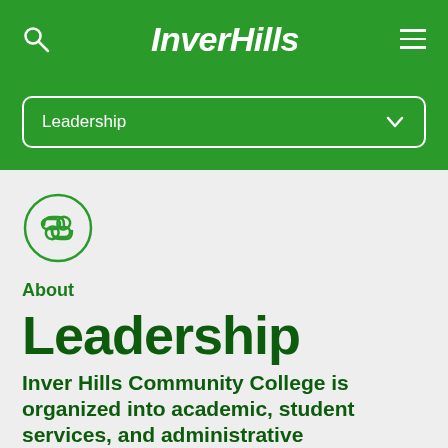InverHills
Leadership
[Figure (logo): Circular link/chain icon button]
About
Leadership
Inver Hills Community College is organized into academic, student services, and administrative